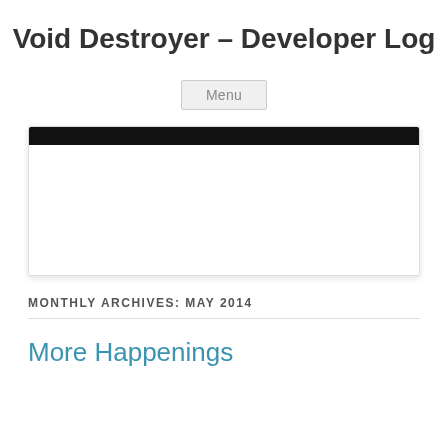Void Destroyer – Developer Log
Menu
[Figure (screenshot): A partially visible screenshot with a black bar at top and white content area below, representing a blog or game screenshot thumbnail.]
MONTHLY ARCHIVES: MAY 2014
More Happenings